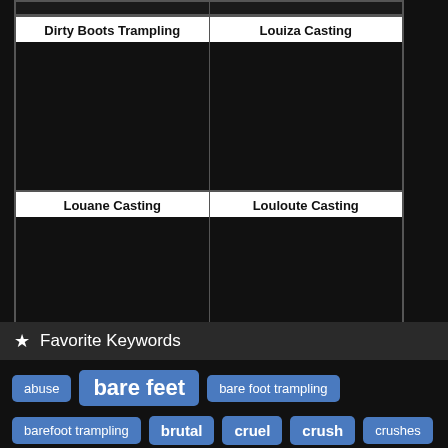[Figure (screenshot): Grid of video thumbnails: Dirty Boots Trampling, Louiza Casting, Louane Casting, Louloute Casting — each with a title label and a dark/black image area]
★ Favorite Keywords
abuse
bare feet
bare foot trampling
barefoot trampling
brutal
cruel
crush
crushes